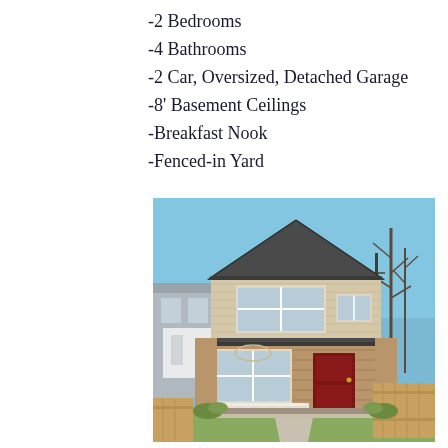-2 Bedrooms
-4 Bathrooms
-2 Car, Oversized, Detached Garage
-8' Basement Ceilings
-Breakfast Nook
-Fenced-in Yard
[Figure (photo): Exterior photo of a two-story craftsman-style house with brick facade, red front door, white porch railing, cedar shake siding on upper gable, large front windows, two-car garage implied, wooden fence on right, adjacent modern building on left, bare trees in background, blue sky.]